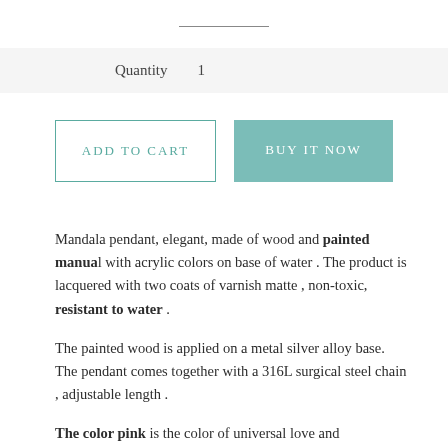Quantity  1
ADD TO CART
BUY IT NOW
Mandala pendant, elegant, made of wood and painted manua l with acrylic colors on base of water . The product is lacquered with two coats of varnish matte , non-toxic, resistant to water .
The painted wood is applied on a metal silver alloy base. The pendant comes together with a 316L surgical steel chain , adjustable length .
The color pink is the color of universal love and compassion. Pink represents friendship, affection, harmony and inner peace. Shining